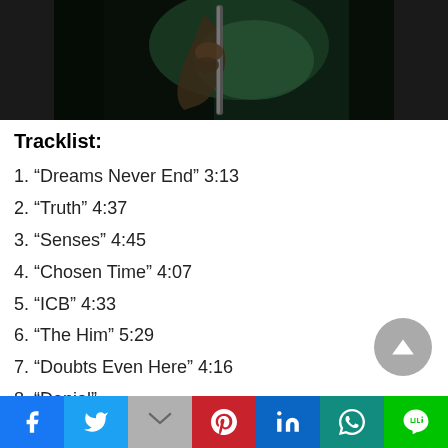[Figure (photo): Dark photo of a person holding a musical instrument, possibly a guitar or bass, dimly lit with greenish tones]
Tracklist:
1. “Dreams Never End” 3:13
2. “Truth” 4:37
3. “Senses” 4:45
4. “Chosen Time” 4:07
5. “ICB” 4:33
6. “The Him” 5:29
7. “Doubts Even Here” 4:16
8. “Denial”
Social share bar: Facebook, Twitter, Gmail, Pinterest, LinkedIn, WhatsApp, LINE